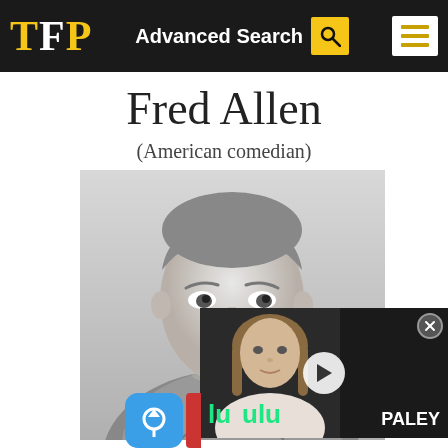TFP Advanced Search
Fred Allen
(American comedian)
[Figure (photo): Black and white portrait photograph of Fred Allen, American comedian, wearing a bow tie and suit, looking slightly to the side. An overlapping advertisement overlay shows a woman with hulu and PALEY branding and a video play button.]
[Figure (screenshot): Bottom portion showing blue and red app icons partially visible]